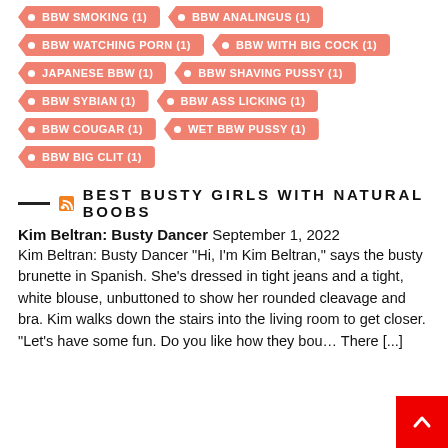BBW SMOKING (1)
BBW ANALINGUS (1)
BBW WATCHING PORN (1)
BBW WITH BIG COCK (1)
JAPANESE BBW (1)
BBW SHAVING PUSSY (1)
BBW SYBIAN (1)
BBW ASS LICKING (1)
BBW COUGAR (1)
WET BBW PUSSY (1)
BBW BIG CLIT (1)
BEST BUSTY GIRLS WITH NATURAL BOOBS
Kim Beltran: Busty Dancer September 1, 2022
Kim Beltran: Busty Dancer "Hi, I'm Kim Beltran," says the busty brunette in Spanish. She's dressed in tight jeans and a tight, white blouse, unbuttoned to show her rounded cleavage and bra. Kim walks down the stairs into the living room to get closer. "Let's have some fun. Do you like how they bou… There [...]